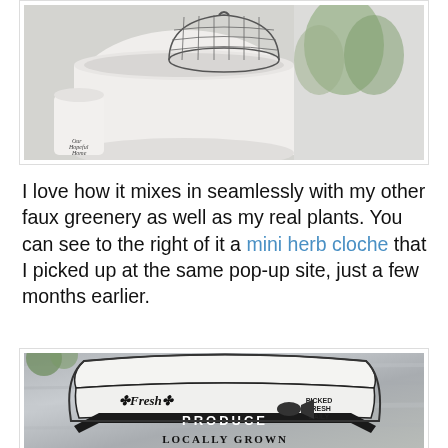[Figure (photo): Photo of white ceramic containers/vases with a wire cloche on top, arranged on a surface. A small label reading 'Our Hopeful Home' is visible in the lower left of the photo.]
I love how it mixes in seamlessly with my other faux greenery as well as my real plants. You can see to the right of it a mini herb cloche that I picked up at the same pop-up site, just a few months earlier.
[Figure (photo): Close-up photo of a galvanized metal bucket/pail with a decorative label printed on the front reading: 'Fresh Produce' with 'Picked Fresh Daily' and 'Locally Grown' in vintage farmhouse style lettering.]